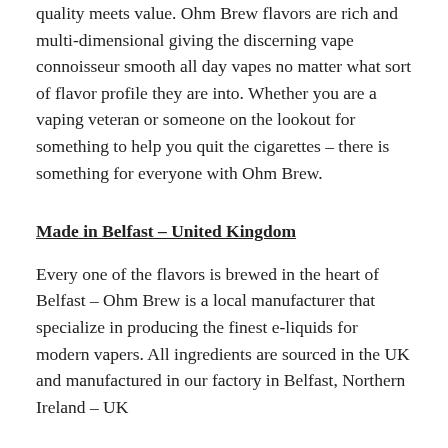quality meets value. Ohm Brew flavors are rich and multi-dimensional giving the discerning vape connoisseur smooth all day vapes no matter what sort of flavor profile they are into. Whether you are a vaping veteran or someone on the lookout for something to help you quit the cigarettes – there is something for everyone with Ohm Brew.
Made in Belfast – United Kingdom
Every one of the flavors is brewed in the heart of Belfast – Ohm Brew is a local manufacturer that specialize in producing the finest e-liquids for modern vapers. All ingredients are sourced in the UK and manufactured in our factory in Belfast, Northern Ireland – UK
Ohm Brew has developed all our flavors from scratch through our in-house lab facilities. From molecule to market, the Ohm Brew team are passionate about making everything 100% traceable. Every batch is GC-MS tested for quality and